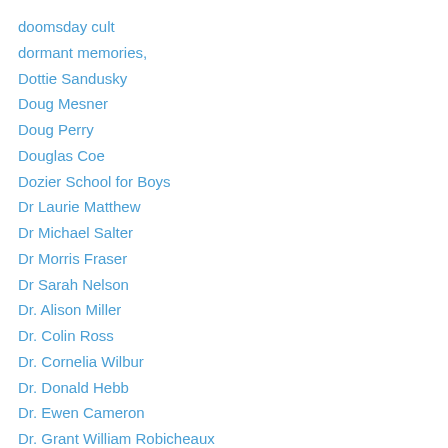doomsday cult
dormant memories,
Dottie Sandusky
Doug Mesner
Doug Perry
Douglas Coe
Dozier School for Boys
Dr Laurie Matthew
Dr Michael Salter
Dr Morris Fraser
Dr Sarah Nelson
Dr. Alison Miller
Dr. Colin Ross
Dr. Cornelia Wilbur
Dr. Donald Hebb
Dr. Ewen Cameron
Dr. Grant William Robicheaux
Dr. Green
Dr. Johnie Barto
Dr. Larry Nassar